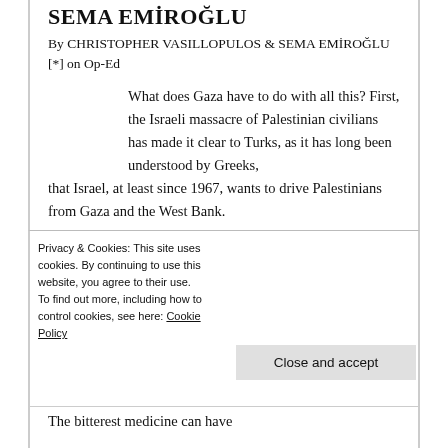SEMA EMİROĞLU
By CHRISTOPHER VASILLOPULOS & SEMA EMİROĞLU [*] on Op-Ed
What does Gaza have to do with all this? First, the Israeli massacre of Palestinian civilians has made it clear to Turks, as it has long been understood by Greeks, that Israel, at least since 1967, wants to drive Palestinians from Gaza and the West Bank.
Rethinking Turkish–Greek relations post Gaza crisis (1) by CHRISTOPHER VASILLOPULOS &
Privacy & Cookies: This site uses cookies. By continuing to use this website, you agree to their use. To find out more, including how to control cookies, see here: Cookie Policy
Close and accept
The bitterest medicine can have